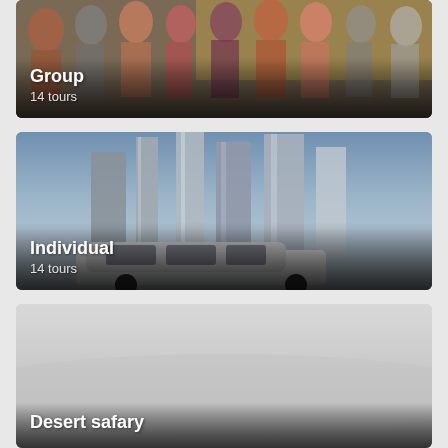[Figure (photo): Group of tourists standing together, photo card with title overlay]
[Figure (photo): City skyline with tall skyscrapers and a white SUV in foreground, photo card with title overlay]
[Figure (photo): Desert safari themed card with light grey misty background]